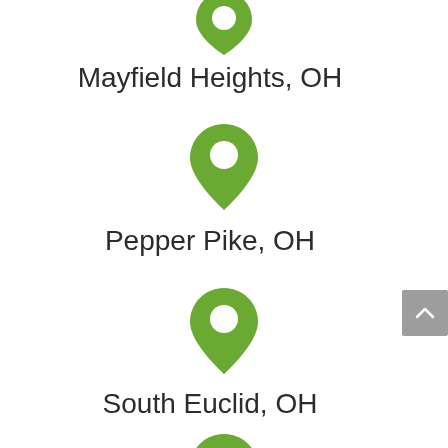[Figure (illustration): Green map location pin icon (partially visible at top)]
Mayfield Heights, OH
[Figure (illustration): Green map location pin icon with white circle]
Pepper Pike, OH
[Figure (illustration): Green map location pin icon with white circle]
South Euclid, OH
[Figure (illustration): Green map location pin icon (partially visible at bottom)]
[Figure (illustration): Gray scroll-to-top button with upward chevron]